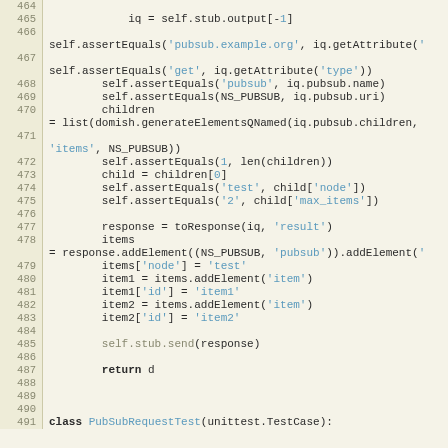[Figure (screenshot): Source code listing in Python showing lines 464–491, with line numbers on the left. Code includes assertions, list comprehension, element additions, and a class definition for PubSubRequestTest.]